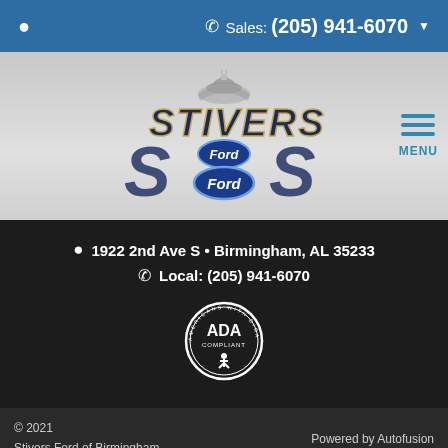Sales: (205) 941-6070
[Figure (logo): Stivers Ford dealership logo with capitol dome and Ford oval badge]
1922 2nd Ave S • Birmingham, AL 35233
Local: (205) 941-6070
[Figure (logo): ADA Compliant - Americans with Disabilities Act badge]
© 2021 Stivers Ford of Birmingham Privacy Policy   Powered by Autofusion